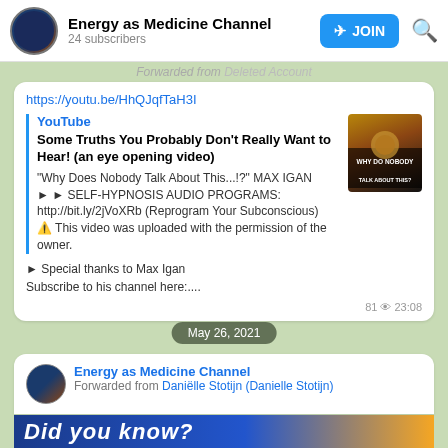Energy as Medicine Channel
24 subscribers
Forwarded from Deleted Account
https://youtu.be/HhQJqfTaH3I
YouTube
Some Truths You Probably Don't Really Want to Hear! (an eye opening video)
"Why Does Nobody Talk About This...!?" MAX IGAN
► ► SELF-HYPNOSIS AUDIO PROGRAMS: http://bit.ly/2jVoXRb (Reprogram Your Subconscious)
⚠️ This video was uploaded with the permission of the owner.

► Special thanks to Max Igan
Subscribe to his channel here:....
81 👁 23:08
May 26, 2021
Energy as Medicine Channel
Forwarded from Daniëlle Stotijn (Danielle Stotijn)
Did you know?